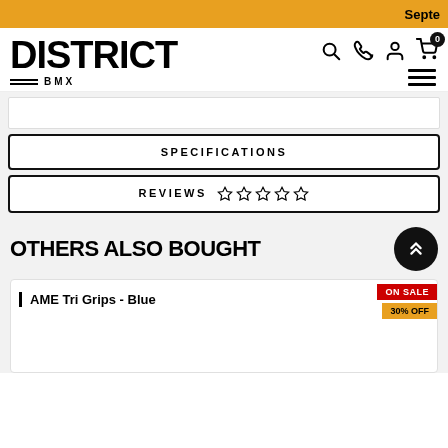Septe
[Figure (logo): District BMX logo with bold DISTRICT text and BMX below with horizontal lines]
SPECIFICATIONS
REVIEWS ☆ ☆ ☆ ☆ ☆
OTHERS ALSO BOUGHT
AME Tri Grips - Blue
ON SALE
30% OFF